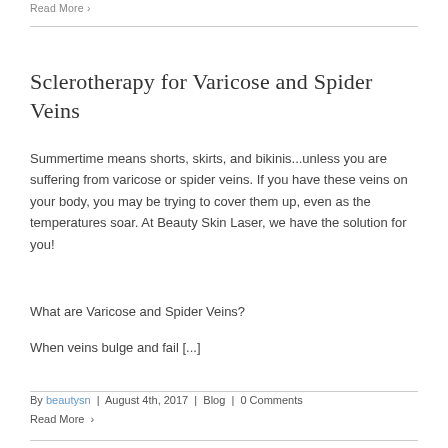Read More >
Sclerotherapy for Varicose and Spider Veins
Summertime means shorts, skirts, and bikinis...unless you are suffering from varicose or spider veins. If you have these veins on your body, you may be trying to cover them up, even as the temperatures soar. At Beauty Skin Laser, we have the solution for you!
What are Varicose and Spider Veins?
When veins bulge and fail [...]
By beautysn | August 4th, 2017 | Blog | 0 Comments
Read More >